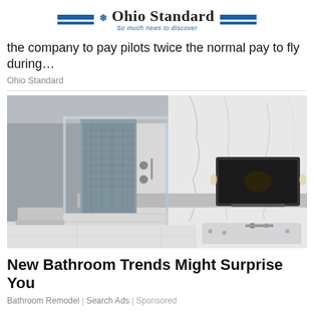Ohio Standard — So much news to discover
the company to pay pilots twice the normal pay to fly during…
Ohio Standard
[Figure (photo): Luxury modern bathroom with glass shower enclosure, mosaic tile accents, marble walls and floors, a wall-mounted TV, and a jetted bathtub in the foreground.]
New Bathroom Trends Might Surprise You
Bathroom Remodel | Search Ads | Sponsored